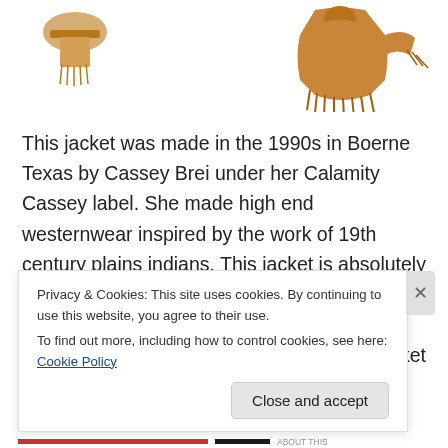[Figure (photo): Partial view of garments/items at top of page — left side shows a partial decorative item, right side shows a tan/brown fringed western jacket]
This jacket was made in the 1990s in Boerne Texas by Cassey Brei under her Calamity Cassey label. She made high end westernwear inspired by the work of 19th century plains indians. This jacket is absolutely stunning, especially compared with the products of most makers doing this style, which take liberties with the design. This jacket is made from canvas with suede fringe, concho
Privacy & Cookies: This site uses cookies. By continuing to use this website, you agree to their use.
To find out more, including how to control cookies, see here: Cookie Policy
Close and accept